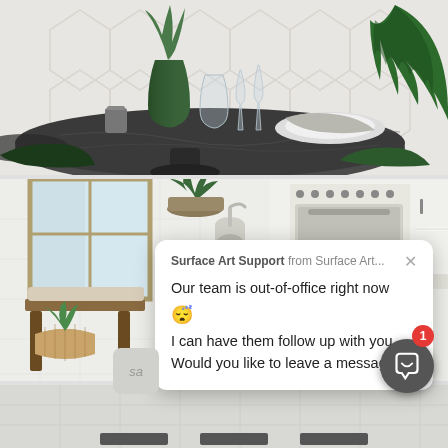[Figure (photo): Interior design photo showing a round dark marble dining table with glassware, a green vase with plants, white plates, and a large green tropical leaf against a white geometric-patterned wall.]
[Figure (screenshot): Interior design photo of a modern kitchen with white floors, white cabinetry, a range oven, wooden bar stools, and indoor plants, with a chat support popup overlay from Surface Art Support saying the team is out-of-office and asking if user wants to leave a message.]
Surface Art Support from Surface Art...
Our team is out-of-office right now 😴
I can have them follow up with you. Would you like to leave a message?
[Figure (photo): Partial view of a bottom section showing light gray tile/flooring with three dark rectangular accents visible at the bottom.]